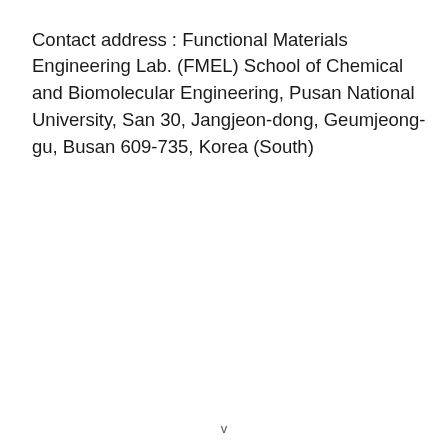Contact address : Functional Materials Engineering Lab. (FMEL) School of Chemical and Biomolecular Engineering, Pusan National University, San 30, Jangjeon-dong, Geumjeong-gu, Busan 609-735, Korea (South)
v